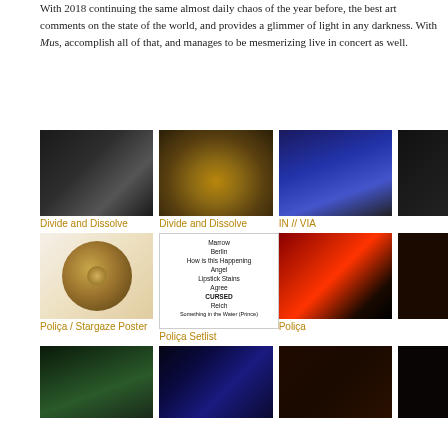With 2018 continuing the same almost daily chaos of the year before, the best art comments on the state of the world, and provides a glimmer of light in any darkness. With Music, accomplish all of that, and manages to be mesmerizing live in concert as well.
[Figure (photo): Dark concert photo of guitarist, Divide and Dissolve]
[Figure (photo): Concert photo showing drum kit under yellow/green lighting, Divide and Dissolve]
[Figure (photo): Blue-lit concert photo of performer at keyboard, IN // VIA]
[Figure (photo): Partially visible dark concert photo (4th column cut off)]
Divide and Dissolve
Divide and Dissolve
IN // VIA
[Figure (photo): Poliça / Stargaze circular gold concert poster]
[Figure (photo): Poliça setlist showing: Marrow, Berlin, How is this Happening, Angel, Lipstick Stains, Agree, CURSED, Reich, Something in the Water (Prince)]
[Figure (photo): Red-lit concert photo, Poliça]
Poliça / Stargaze Poster
Poliça Setlist
Poliça
[Figure (photo): Concert photo of Poliça singer]
[Figure (photo): Blue-lit concert photo of Poliça performer]
[Figure (photo): Concert photo of Poliça performer]